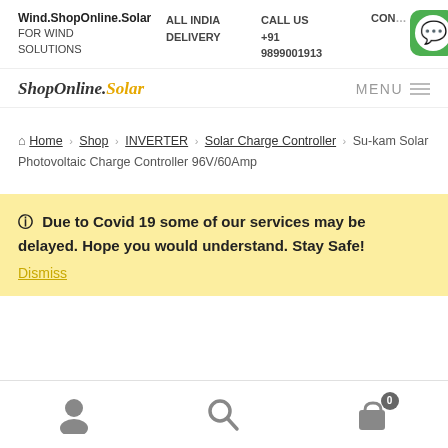Wind.ShopOnline.Solar FOR WIND SOLUTIONS | ALL INDIA DELIVERY | CALL US +91 9899001913 | CONTACT
[Figure (logo): WhatsApp green logo icon in top right corner]
[Figure (logo): ShopOnline.Solar logo in italic text, 'Solar' portion in orange/gold]
MENU
Home > Shop > INVERTER > Solar Charge Controller > Sukam Solar Photovoltaic Charge Controller 96V/60Amp
Due to Covid 19 some of our services may be delayed. Hope you would understand. Stay Safe! Dismiss
User icon | Search icon | Cart icon (0)